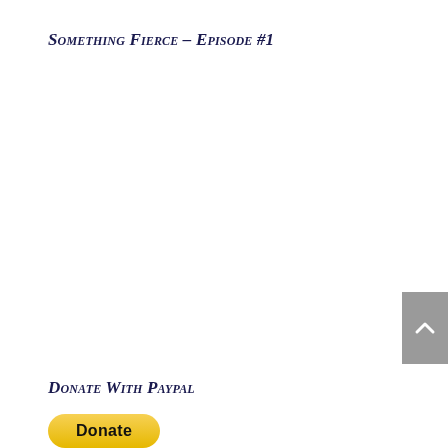Something Fierce – Episode #1
Donate With Paypal
[Figure (other): A golden/yellow rounded donate button with bold text 'Donate']
[Figure (other): A gray scroll-to-top button with an upward-pointing chevron/arrow icon, positioned at the right edge of the page]